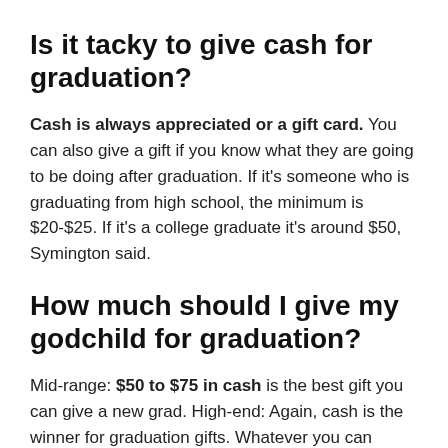Is it tacky to give cash for graduation?
Cash is always appreciated or a gift card. You can also give a gift if you know what they are going to be doing after graduation. If it's someone who is graduating from high school, the minimum is $20-$25. If it's a college graduate it's around $50, Symington said.
How much should I give my godchild for graduation?
Mid-range: $50 to $75 in cash is the best gift you can give a new grad. High-end: Again, cash is the winner for graduation gifts. Whatever you can comfortably afford is sure to be appreciated.